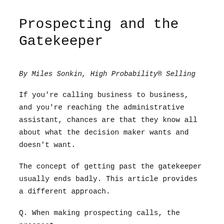Prospecting and the Gatekeeper
By Miles Sonkin, High Probability® Selling
If you're calling business to business, and you're reaching the administrative assistant, chances are that they know all about what the decision maker wants and doesn't want.
The concept of getting past the gatekeeper usually ends badly. This article provides a different approach.
Q. When making prospecting calls, the prospect